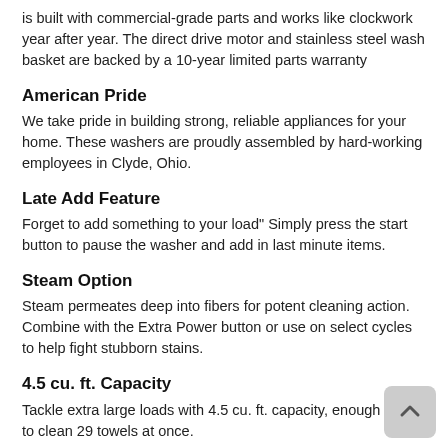is built with commercial-grade parts and works like clockwork year after year. The direct drive motor and stainless steel wash basket are backed by a 10-year limited parts warranty
American Pride
We take pride in building strong, reliable appliances for your home. These washers are proudly assembled by hard-working employees in Clyde, Ohio.
Late Add Feature
Forget to add something to your load" Simply press the start button to pause the washer and add in last minute items.
Steam Option
Steam permeates deep into fibers for potent cleaning action. Combine with the Extra Power button or use on select cycles to help fight stubborn stains.
4.5 cu. ft. Capacity
Tackle extra large loads with 4.5 cu. ft. capacity, enough space to clean 29 towels at once.
Direct Drive Mo...